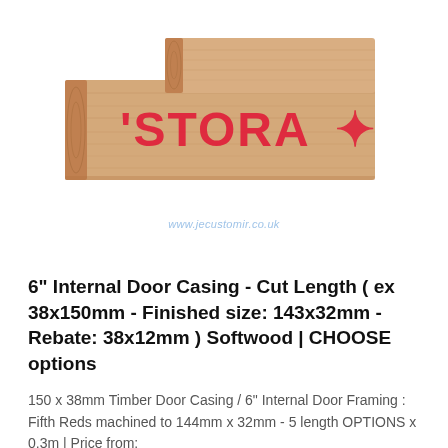[Figure (photo): Close-up photo of a piece of softwood timber with red 'STORA' brand stamp on the end grain, showing wood texture and grain pattern.]
6" Internal Door Casing - Cut Length ( ex 38x150mm - Finished size: 143x32mm - Rebate: 38x12mm ) Softwood | CHOOSE options
150 x 38mm Timber Door Casing / 6" Internal Door Framing : Fifth Reds machined to 144mm x 32mm - 5 length OPTIONS x 0.3m | Price from: